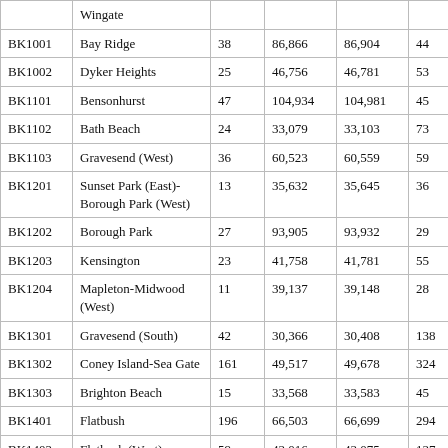|  | Wingate |  |  |  |  |
| BK1001 | Bay Ridge | 38 | 86,866 | 86,904 | 44 |
| BK1002 | Dyker Heights | 25 | 46,756 | 46,781 | 53 |
| BK1101 | Bensonhurst | 47 | 104,934 | 104,981 | 45 |
| BK1102 | Bath Beach | 24 | 33,079 | 33,103 | 73 |
| BK1103 | Gravesend (West) | 36 | 60,523 | 60,559 | 59 |
| BK1201 | Sunset Park (East)-Borough Park (West) | 13 | 35,632 | 35,645 | 36 |
| BK1202 | Borough Park | 27 | 93,905 | 93,932 | 29 |
| BK1203 | Kensington | 23 | 41,758 | 41,781 | 55 |
| BK1204 | Mapleton-Midwood (West) | 11 | 39,137 | 39,148 | 28 |
| BK1301 | Gravesend (South) | 42 | 30,366 | 30,408 | 138 |
| BK1302 | Coney Island-Sea Gate | 161 | 49,517 | 49,678 | 324 |
| BK1303 | Brighton Beach | 15 | 33,568 | 33,583 | 45 |
| BK1401 | Flatbush | 196 | 66,503 | 66,699 | 294 |
| BK1402 | Flatbush (West)-Ditmas Park-Parkville | 59 | 43,016 | 43,075 | 137 |